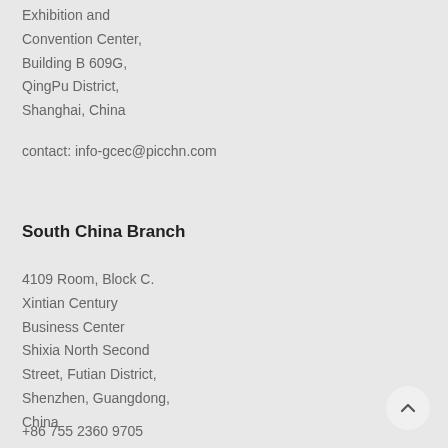Exhibition and Convention Center, Building B 609G, QingPu District, Shanghai, China
contact: info-gcec@picchn.com
South China Branch
4109 Room, Block C. Xintian Century Business Center Shixia North Second Street, Futian District, Shenzhen, Guangdong, China
+86 755 2360 9705